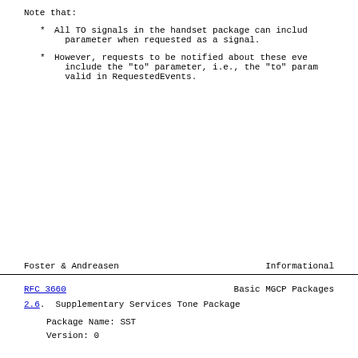Note that:
All TO signals in the handset package can include the "to" parameter when requested as a signal.
However, requests to be notified about these events cannot include the "to" parameter, i.e., the "to" parameter is not valid in RequestedEvents.
Foster & Andreasen          Informational
RFC 3660                    Basic MGCP Packages
2.6.  Supplementary Services Tone Package
Package Name: SST
Version: 0